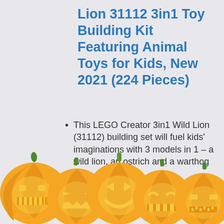Lion 31112 3in1 Toy Building Kit Featuring Animal Toys for Kids, New 2021 (224 Pieces)
This LEGO Creator 3in1 Wild Lion (31112) building set will fuel kids' imaginations with 3 models in 1 – a wild lion, an ostrich and a warthog
Impressive LEGO set also includes a vulture, which can be used with a 13-brick-built...
[Figure (illustration): Row of five carved Halloween jack-o-lantern pumpkins with orange bodies and green stems, each with a different face pattern glowing yellow, partially cut off at the bottom of the page.]